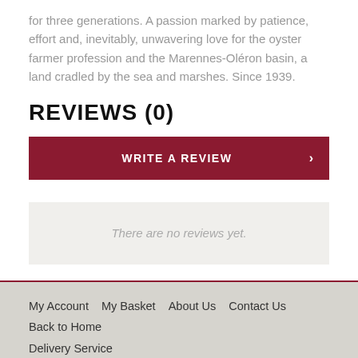for three generations. A passion marked by patience, effort and, inevitably, unwavering love for the oyster farmer profession and the Marennes-Oléron basin, a land cradled by the sea and marshes. Since 1939.
REVIEWS (0)
WRITE A REVIEW
There are no reviews yet.
My Account  My Basket  About Us  Contact Us  Back to Home  Delivery Service